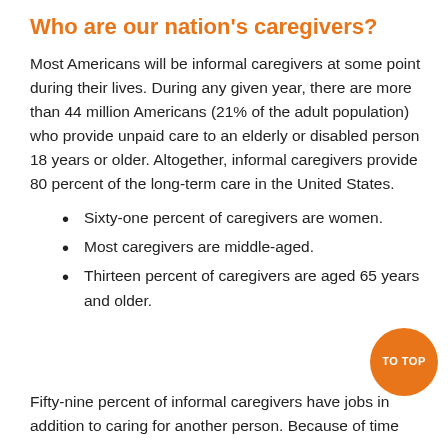Who are our nation's caregivers?
Most Americans will be informal caregivers at some point during their lives. During any given year, there are more than 44 million Americans (21% of the adult population) who provide unpaid care to an elderly or disabled person 18 years or older. Altogether, informal caregivers provide 80 percent of the long-term care in the United States.
Sixty-one percent of caregivers are women.
Most caregivers are middle-aged.
Thirteen percent of caregivers are aged 65 years and older.
Fifty-nine percent of informal caregivers have jobs in addition to caring for another person. Because of time